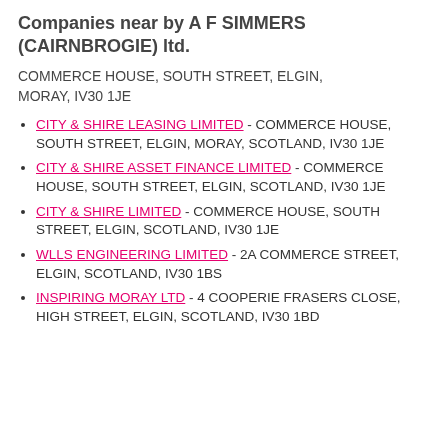Companies near by A F SIMMERS (CAIRNBROGIE) ltd.
COMMERCE HOUSE, SOUTH STREET, ELGIN, MORAY, IV30 1JE
CITY & SHIRE LEASING LIMITED - COMMERCE HOUSE, SOUTH STREET, ELGIN, MORAY, SCOTLAND, IV30 1JE
CITY & SHIRE ASSET FINANCE LIMITED - COMMERCE HOUSE, SOUTH STREET, ELGIN, SCOTLAND, IV30 1JE
CITY & SHIRE LIMITED - COMMERCE HOUSE, SOUTH STREET, ELGIN, SCOTLAND, IV30 1JE
WLLS ENGINEERING LIMITED - 2A COMMERCE STREET, ELGIN, SCOTLAND, IV30 1BS
INSPIRING MORAY LTD - 4 COOPERIE FRASERS CLOSE, HIGH STREET, ELGIN, SCOTLAND, IV30 1BD